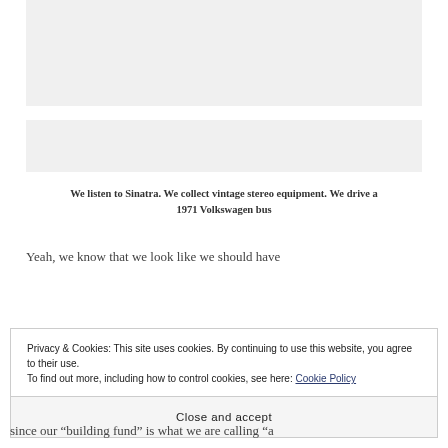[Figure (other): Gray placeholder image block at top of page]
[Figure (other): Gray placeholder image block in middle of page]
We listen to Sinatra. We collect vintage stereo equipment. We drive a 1971 Volkswagen bus
Yeah, we know that we look like we should have
Privacy & Cookies: This site uses cookies. By continuing to use this website, you agree to their use.
To find out more, including how to control cookies, see here: Cookie Policy
Close and accept
since our “building fund” is what we are calling “a